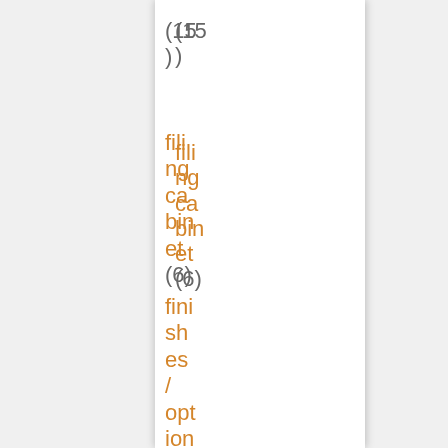(15)
filing cabinet (6)
finishes/options (5)
furniture